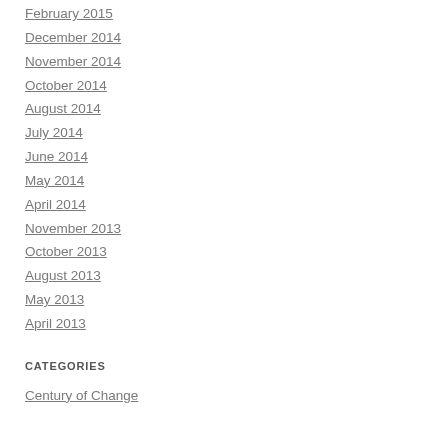February 2015
December 2014
November 2014
October 2014
August 2014
July 2014
June 2014
May 2014
April 2014
November 2013
October 2013
August 2013
May 2013
April 2013
CATEGORIES
Century of Change